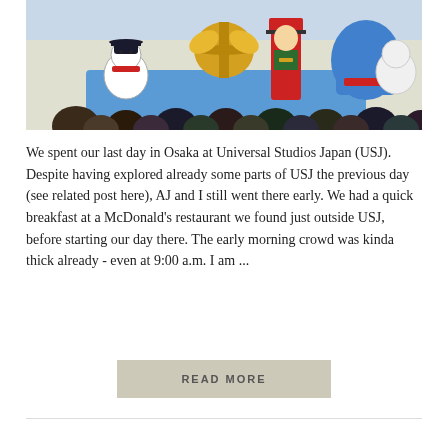[Figure (photo): Colorful Christmas parade at Universal Studios Japan (USJ) with costumed characters including a snowman, a nutcracker soldier, a large golden bow decoration, and crowd of visitors watching.]
We spent our last day in Osaka at Universal Studios Japan (USJ).  Despite having explored already some parts of USJ the previous day (see related post here), AJ and I still went there early.  We had a quick breakfast at a McDonald's restaurant we found just outside USJ, before starting our day there. The early morning crowd was kinda thick already - even at 9:00 a.m. I am ...
READ MORE